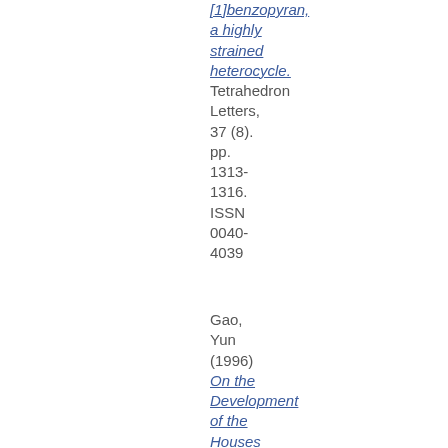[1]benzopyran, a highly strained heterocycle. Tetrahedron Letters, 37 (8). pp. 1313-1316. ISSN 0040-4039
Gao, Yun (1996) On the Development of the Houses